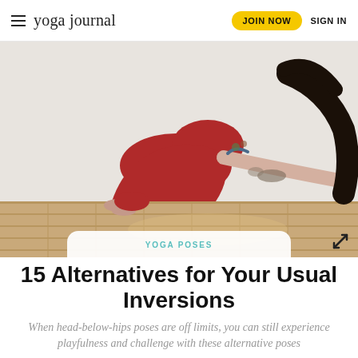yoga journal  JOIN NOW  SIGN IN
[Figure (photo): Woman in red yoga outfit performing a low crouching pose on a wooden floor, with tattooed arms and dark hair, photographed from the side against a white background.]
YOGA POSES
15 Alternatives for Your Usual Inversions
When head-below-hips poses are off limits, you can still experience playfulness and challenge with these alternative poses